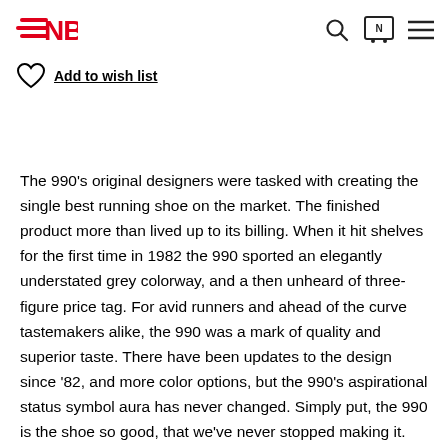New Balance header with logo and navigation icons
Add to wish list
The 990’s original designers were tasked with creating the single best running shoe on the market. The finished product more than lived up to its billing. When it hit shelves for the first time in 1982 the 990 sported an elegantly understated grey colorway, and a then unheard of three-figure price tag. For avid runners and ahead of the curve tastemakers alike, the 990 was a mark of quality and superior taste. There have been updates to the design since ’82, and more color options, but the 990’s aspirational status symbol aura has never changed. Simply put, the 990 is the shoe so good, that we’ve never stopped making it. The 990v3 for kids brings big impact to small feet.